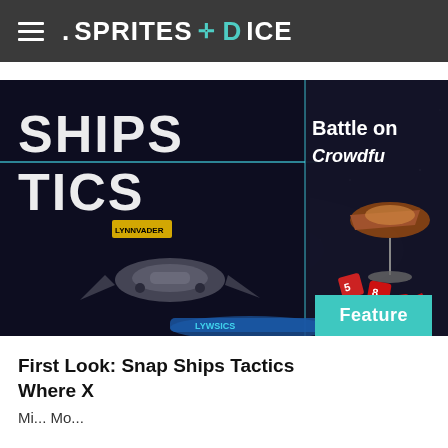.SPRITES + DICE
[Figure (photo): Tabletop game photo showing Snap Ships Tactics board game components including miniature spaceships on a dark space-themed game mat with red dice scattered around. Game box visible in background showing 'SHIPS TACTICS' logo and text 'Battle on Crowdfunding'. A teal 'Feature' badge overlays the bottom right corner.]
First Look: Snap Ships Tactics Where X
Mi... Mo...